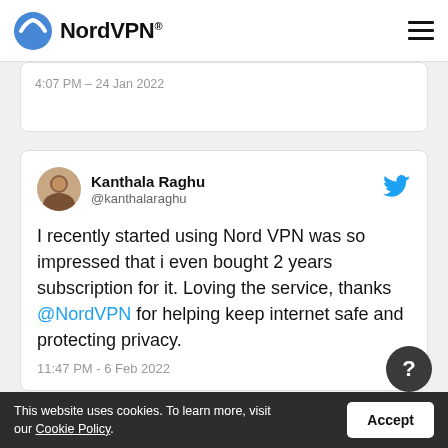NordVPN®
4:07 PM – 24 Jan 2022
Kanthala Raghu @kanthalaraghu
I recently started using Nord VPN was so impressed that i even bought 2 years subscription for it. Loving the service, thanks @NordVPN for helping keep internet safe and protecting privacy.
11:47 PM - 6 Feb 2022
This website uses cookies. To learn more, visit our Cookie Policy.